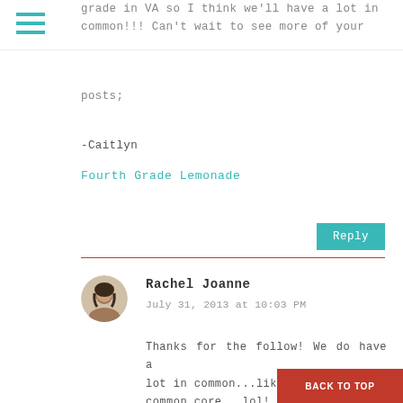grade in VA so I think we'll have a lot in common!!! Can't wait to see more of your posts;
-Caitlyn
Fourth Grade Lemonade
Reply
Rachel Joanne
July 31, 2013 at 10:03 PM
Thanks for the follow! We do have a lot in common...like not having common core...lol! Do you sometimes think that if you moved to another state you would be clueless about common core? As a